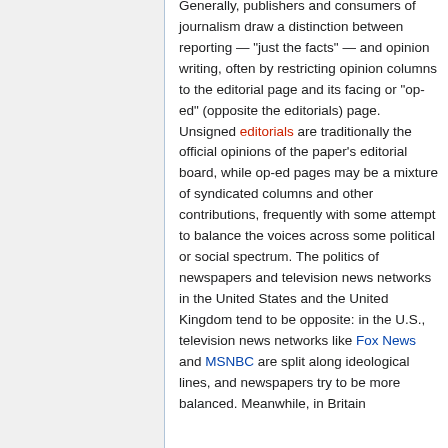Generally, publishers and consumers of journalism draw a distinction between reporting — "just the facts" — and opinion writing, often by restricting opinion columns to the editorial page and its facing or "op-ed" (opposite the editorials) page. Unsigned editorials are traditionally the official opinions of the paper's editorial board, while op-ed pages may be a mixture of syndicated columns and other contributions, frequently with some attempt to balance the voices across some political or social spectrum. The politics of newspapers and television news networks in the United States and the United Kingdom tend to be opposite: in the U.S., television news networks like Fox News and MSNBC are split along ideological lines, and newspapers try to be more balanced. Meanwhile, in Britain